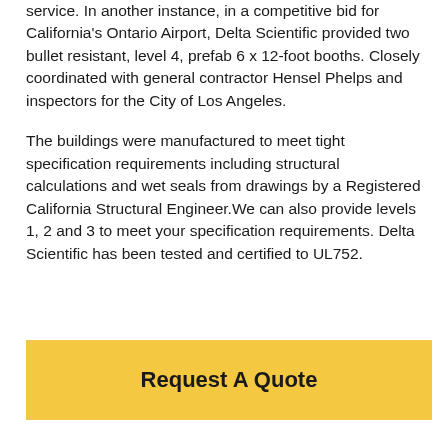service. In another instance, in a competitive bid for California's Ontario Airport, Delta Scientific provided two bullet resistant, level 4, prefab 6 x 12-foot booths. Closely coordinated with general contractor Hensel Phelps and inspectors for the City of Los Angeles.
The buildings were manufactured to meet tight specification requirements including structural calculations and wet seals from drawings by a Registered California Structural Engineer.We can also provide levels 1, 2 and 3 to meet your specification requirements. Delta Scientific has been tested and certified to UL752.
Request A Quote